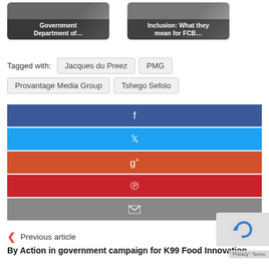[Figure (photo): Thumbnail card with person photo and text 'Government Department of...']
[Figure (photo): Thumbnail card with person photo and text 'Inclusion: What they mean for FCB...']
Tagged with: Jacques du Preez  PMG  Provantage Media Group  Tshego Sefolo
[Figure (infographic): Social share buttons: Facebook (blue), Twitter (light blue), Google+ (orange-red), Pinterest (red), Email (grey)]
Previous article
By Action in government campaign for K99 Food Innovation...